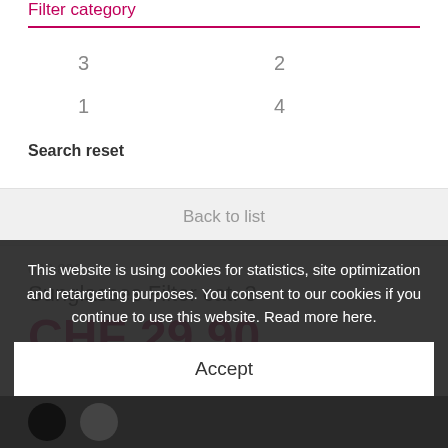Filter category
3
2
1
4
Search reset
Back to list
023.892
Sunglasses Filter cat. 3
CHF 29.90
This website is using cookies for statistics, site optimization and retargeting purposes. You consent to our cookies if you continue to use this website. Read more here.
Accept